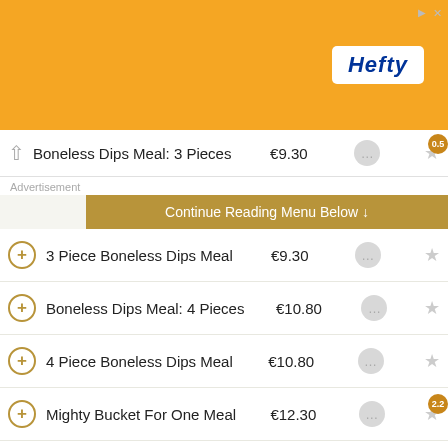[Figure (photo): Hefty brand advertisement banner with orange background and Hefty logo]
Boneless Dips Meal: 3 Pieces €9.30
Advertisement
Continue Reading Menu Below ↓
3 Piece Boneless Dips Meal €9.30
Boneless Dips Meal: 4 Pieces €10.80
4 Piece Boneless Dips Meal €10.80
Mighty Bucket For One Meal €12.30
Original Recipe Meal: 2 Pieces €9.30
Original Recipe Meal: 3 Pieces €11.50
Large Popcorn Chicken® Meal €10.00